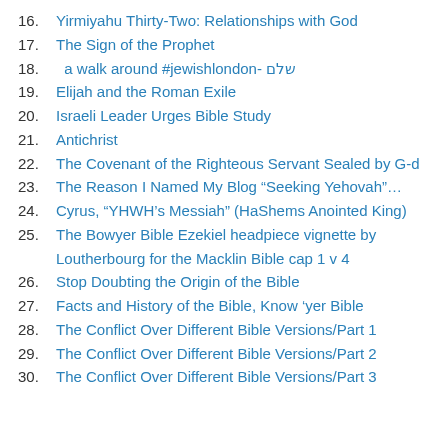16. Yirmiyahu Thirty-Two: Relationships with God
17. The Sign of the Prophet
18.  a walk around #jewishlondon- שלם
19. Elijah and the Roman Exile
20. Israeli Leader Urges Bible Study
21. Antichrist
22. The Covenant of the Righteous Servant Sealed by G-d
23. The Reason I Named My Blog “Seeking Yehovah”…
24. Cyrus, “YHWH’s Messiah” (HaShems Anointed King)
25. The Bowyer Bible Ezekiel headpiece vignette by Loutherbourg for the Macklin Bible cap 1 v 4
26. Stop Doubting the Origin of the Bible
27. Facts and History of the Bible, Know ‘yer Bible
28. The Conflict Over Different Bible Versions/Part 1
29. The Conflict Over Different Bible Versions/Part 2
30. The Conflict Over Different Bible Versions/Part 3